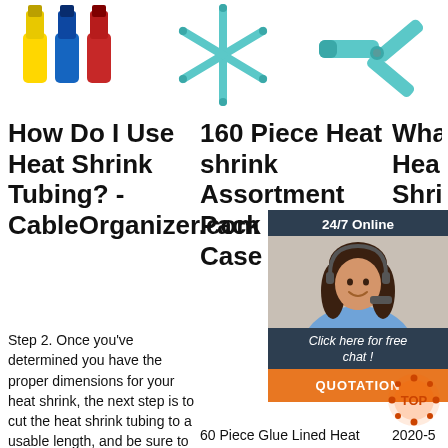[Figure (photo): Three heat shrink connectors in yellow, blue, and red colors at top left]
[Figure (photo): Star-shaped arrangement of teal/blue syringes or heat shrink connectors in the center top]
[Figure (photo): Teal heat shrink tubing connectors at top right]
How Do I Use Heat Shrink Tubing? - CableOrganizer.com
160 Piece Heat shrink Assortment Pack in Plastic Case
Wha Hea Shri Slee (HS Defi from
Step 2. Once you've determined you have the proper dimensions for your heat shrink, the next step is to cut the heat shrink tubing to a usable length, and be sure to allow for a
60 Piece Glue Lined Heat shrink Assortment Pack in Plastic Case 60 pieces commonly used sizes in Black colour with glue lining This 60
2020-5 29u200 heat-shrink sleeve is a corrosion protective coating for pipelines in form of a wraparound or
[Figure (screenshot): 24/7 Online chat widget with agent photo, 'Click here for free chat!' text, and orange QUOTATION button]